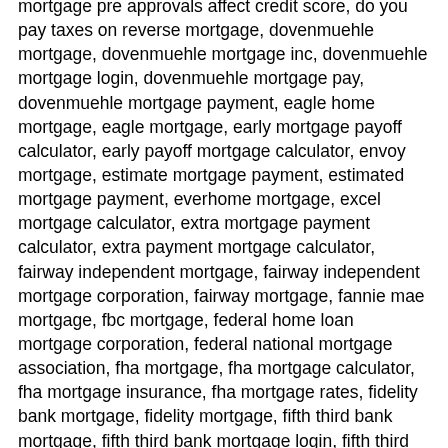mortgage pre approvals affect credit score, do you pay taxes on reverse mortgage, dovenmuehle mortgage, dovenmuehle mortgage inc, dovenmuehle mortgage login, dovenmuehle mortgage pay, dovenmuehle mortgage payment, eagle home mortgage, eagle mortgage, early mortgage payoff calculator, early payoff mortgage calculator, envoy mortgage, estimate mortgage payment, estimated mortgage payment, everhome mortgage, excel mortgage calculator, extra mortgage payment calculator, extra payment mortgage calculator, fairway independent mortgage, fairway independent mortgage corporation, fairway mortgage, fannie mae mortgage, fbc mortgage, federal home loan mortgage corporation, federal national mortgage association, fha mortgage, fha mortgage calculator, fha mortgage insurance, fha mortgage rates, fidelity bank mortgage, fidelity mortgage, fifth third bank mortgage, fifth third bank mortgage login, fifth third mortgage, finance of america mortgage, first bank mortgage, first community mortgage, first guaranty mortgage corporation, first home mortgage, first mortgage, first united mortgage, firstbank mortgage, firstland mortgage, fixed rate mortgage, flagstar bank mortgage, flagstar bank mortgage login, flagstar mortgage, flagstar mortgage login, florida homes realty and mortgage, fmerr mortgage program, franklin american mortgage, franklin american mortgage company, franklin mortgage, freddie mac mortgage rates, free mortgage calculator, freedom mortgage, freedom mortgage corporation, freedom mortgage